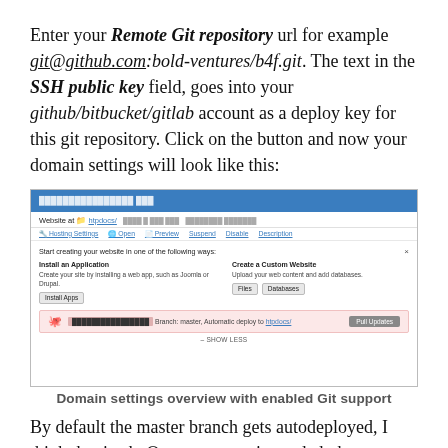Enter your Remote Git repository url for example git@github.com:bold-ventures/b4f.git. The text in the SSH public key field, goes into your github/bitbucket/gitlab account as a deploy key for this git repository. Click on the button and now your domain settings will look like this:
[Figure (screenshot): Screenshot of domain settings panel showing website hosting controls, Install an Application and Create a Custom Website sections, and a pink row indicating Branch: master, Automatic deploy to htpdocs/ with a Pull Updates button, and a SHOW LESS link at the bottom.]
Domain settings overview with enabled Git support
By default the master branch gets autodeployed, I think that is ok. One more step is needed, that your server gets